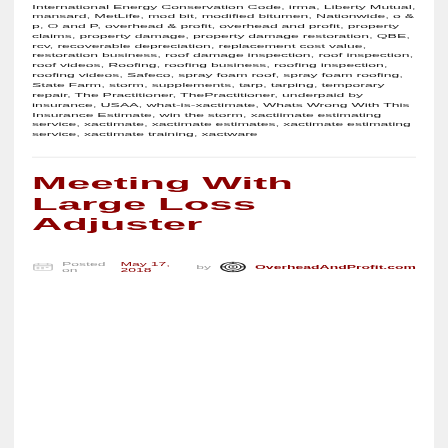International Energy Conservation Code, irma, Liberty Mutual, mansard, MetLife, mod bit, modified bitumen, Nationwide, o & p, O and P, overhead & profit, overhead and profit, property claims, property damage, property damage restoration, QBE, rcv, recoverable depreciation, replacement cost value, restoration business, roof damage inspection, roof inspection, roof videos, Roofing, roofing business, roofing inspection, roofing videos, Safeco, spray foam roof, spray foam roofing, State Farm, storm, supplements, tarp, tarping, temporary repair, The Practitioner, ThePractitioner, underpaid by insurance, USAA, what-is-xactimate, Whats Wrong With This Insurance Estimate, win the storm, xactiimate estimating service, xactimate, xactimate estimates, xactimate estimating service, xactimate training, xactware
Meeting With Large Loss Adjuster
Posted on May 17, 2018 by OverheadAndProfit.com